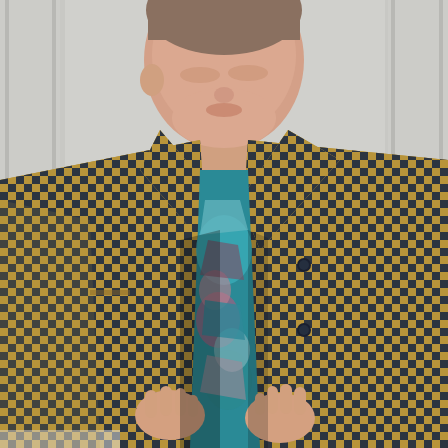[Figure (photo): A person wearing a golden-tan and dark navy/charcoal checkerboard-patterned jacket or shirt-jacket, open at the front, revealing a teal and multicolor ikat-patterned top underneath. The person is looking downward and holding the front panels of the jacket open with both hands. The background is a pale gray wall with vertical paneling. The photo is cropped at the shoulders/neck level, partially showing the person's face and chin.]